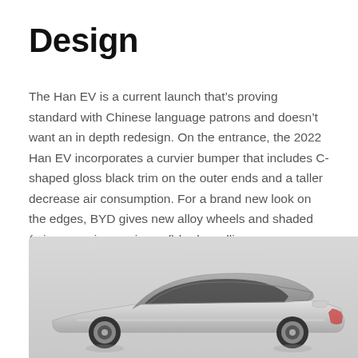Design
The Han EV is a current launch that’s proving standard with Chinese language patrons and doesn’t want an in depth redesign. On the entrance, the 2022 Han EV incorporates a curvier bumper that includes C-shaped gloss black trim on the outer ends and a taller decrease air consumption. For a brand new look on the edges, BYD gives new alloy wheels and shaded (crimson or inexperienced) brake callipers.
[Figure (photo): Rear three-quarter view of a silver BYD Han EV sedan on a light gray background]